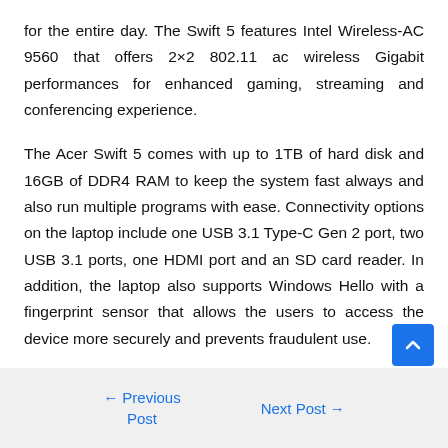for the entire day. The Swift 5 features Intel Wireless-AC 9560 that offers 2×2 802.11 ac wireless Gigabit performances for enhanced gaming, streaming and conferencing experience.
The Acer Swift 5 comes with up to 1TB of hard disk and 16GB of DDR4 RAM to keep the system fast always and also run multiple programs with ease. Connectivity options on the laptop include one USB 3.1 Type-C Gen 2 port, two USB 3.1 ports, one HDMI port and an SD card reader. In addition, the laptop also supports Windows Hello with a fingerprint sensor that allows the users to access the device more securely and prevents fraudulent use.
← Previous Post    Next Post →